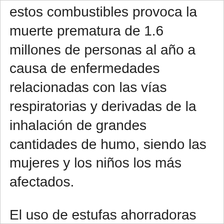estos combustibles provoca la muerte prematura de 1.6 millones de personas al año a causa de enfermedades relacionadas con las vías respiratorias y derivadas de la inhalación de grandes cantidades de humo, siendo las mujeres y los niños los más afectados.
El uso de estufas ahorradoras de leña, como la Ecoestufa, es una alternativa de solución efectiva y confiable para mitigar los efectos nocivos de cocinar con leña, reduciendo hasta el 75% del uso de combustible con los subsecuentes impactos positivos en la